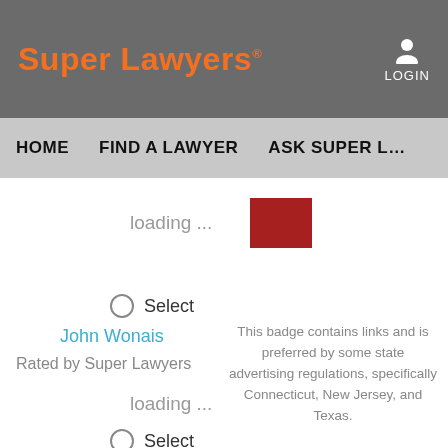Super Lawyers® LOGIN
HOME   FIND A LAWYER   ASK SUPER L…
loading ...
Select
John Wonais
Rated by Super Lawyers
This badge contains links and is preferred by some state advertising regulations, specifically Connecticut, New Jersey, and Texas.
loading ...
Select